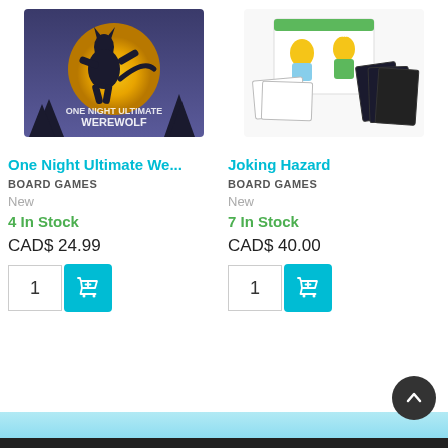[Figure (photo): Product image of One Night Ultimate Werewolf board game box with werewolf silhouette against full moon]
[Figure (photo): Product image of Joking Hazard board game box with cartoon characters and cards]
One Night Ultimate We...
BOARD GAMES
New
4 In Stock
CAD$ 24.99
Joking Hazard
BOARD GAMES
New
7 In Stock
CAD$ 40.00